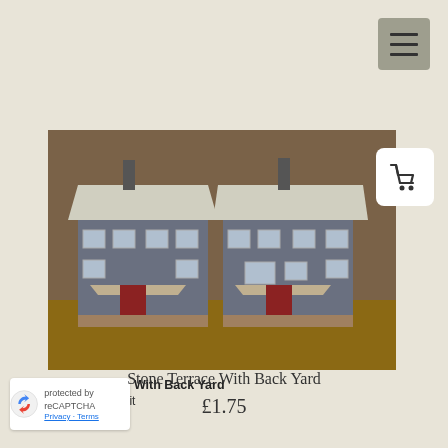[Figure (screenshot): Hamburger menu button (three horizontal lines) on grey background in top right corner]
[Figure (photo): Photo of a model railway N gauge card kit: Stone Terrace With Back Yard — two attached stone terraced houses with grey roofs, chimneys, red-brick porches, and small front walls, displayed on a brown surface]
[Figure (other): Shopping cart icon in white rounded square overlay on top right of product image]
Stone Terrace With Back Yard
N gauge card kit
Price: £1.75
[Figure (logo): Google reCAPTCHA badge with blue/red/arrow logo and Privacy - Terms links]
Stone Terrace With Back Yard
£1.75